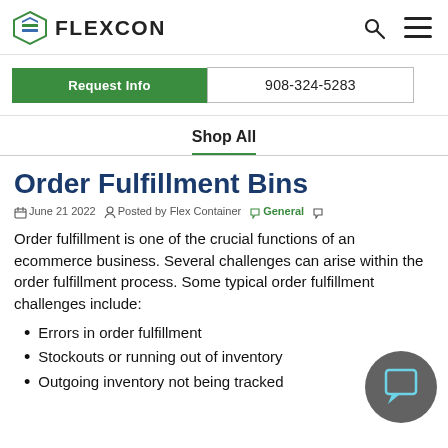FLEXCON
Request Info  908-324-5283
Shop All
Order Fulfillment Bins
June 21 2022  Posted by Flex Container  General
Order fulfillment is one of the crucial functions of an ecommerce business. Several challenges can arise within the order fulfillment process. Some typical order fulfillment challenges include:
Errors in order fulfillment
Stockouts or running out of inventory
Outgoing inventory not being tracked